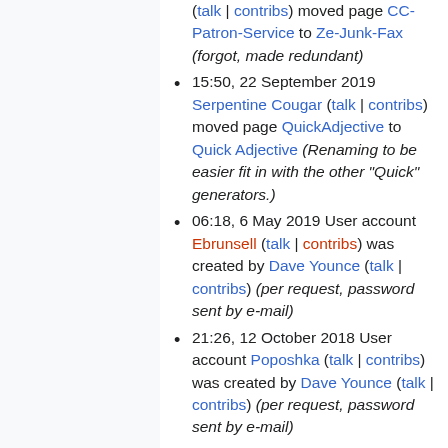(talk | contribs) moved page CC-Patron-Service to Ze-Junk-Fax (forgot, made redundant)
15:50, 22 September 2019 Serpentine Cougar (talk | contribs) moved page QuickAdjective to Quick Adjective (Renaming to be easier fit in with the other "Quick" generators.)
06:18, 6 May 2019 User account Ebrunsell (talk | contribs) was created by Dave Younce (talk | contribs) (per request, password sent by e-mail)
21:26, 12 October 2018 User account Poposhka (talk | contribs) was created by Dave Younce (talk | contribs) (per request, password sent by e-mail)
12:06, 20 September 2018 User account CLAVDIVS (talk | contribs)